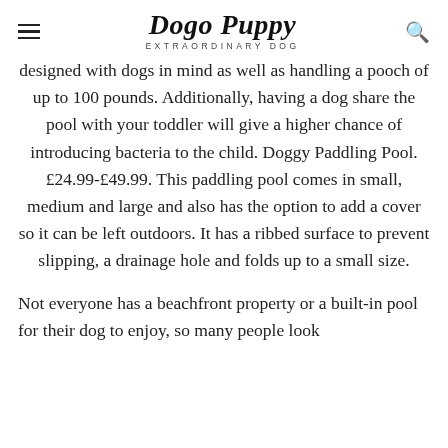Dogo Puppy EXTRAORDINARY DOG
designed with dogs in mind as well as handling a pooch of up to 100 pounds. Additionally, having a dog share the pool with your toddler will give a higher chance of introducing bacteria to the child. Doggy Paddling Pool. £24.99-£49.99. This paddling pool comes in small, medium and large and also has the option to add a cover so it can be left outdoors. It has a ribbed surface to prevent slipping, a drainage hole and folds up to a small size.
Not everyone has a beachfront property or a built-in pool for their dog to enjoy, so many people look